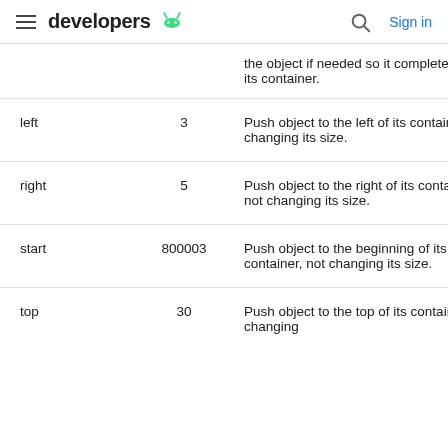developers
| Constant | Value | Description |
| --- | --- | --- |
|  |  | the object if needed so it completely fills its container. |
| left | 3 | Push object to the left of its container, not changing its size. |
| right | 5 | Push object to the right of its container, not changing its size. |
| start | 800003 | Push object to the beginning of its container, not changing its size. |
| top | 30 | Push object to the top of its container, not changing |